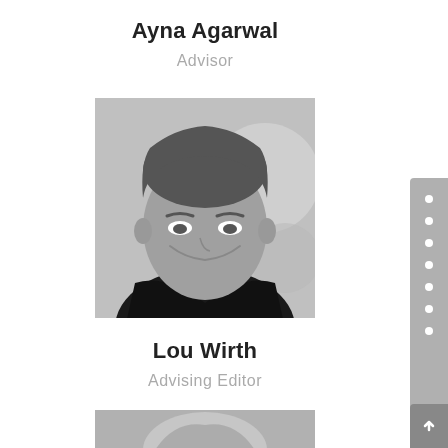Ayna Agarwal
Advisor
[Figure (photo): Black and white headshot portrait of Lou Wirth, a middle-aged man with wavy hair, smiling, wearing a dark jacket]
Lou Wirth
Advising Editor
[Figure (photo): Partial black and white headshot of another person, only top of head visible at bottom of page]